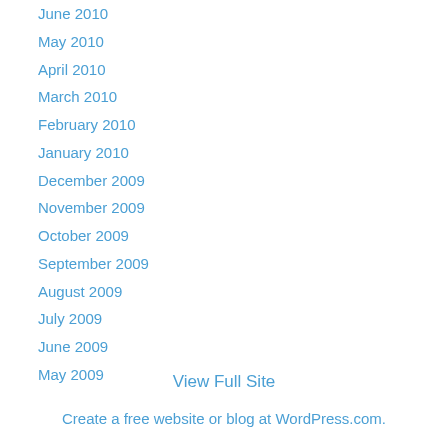June 2010
May 2010
April 2010
March 2010
February 2010
January 2010
December 2009
November 2009
October 2009
September 2009
August 2009
July 2009
June 2009
May 2009
View Full Site
Create a free website or blog at WordPress.com.